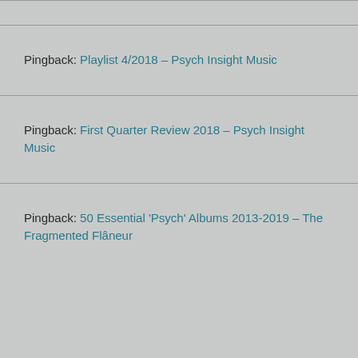Pingback: Playlist 4/2018 – Psych Insight Music
Pingback: First Quarter Review 2018 – Psych Insight Music
Pingback: 50 Essential 'Psych' Albums 2013-2019 – The Fragmented Flâneur